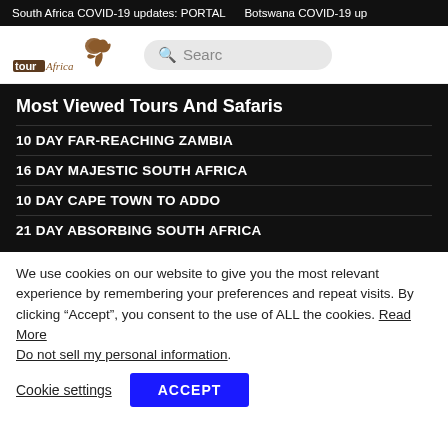South Africa COVID-19 updates: PORTAL    Botswana COVID-19 up
[Figure (logo): Tour Africa logo with stylized animal silhouette and text 'tour Africa']
10 DAY FAR-REACHING ZAMBIA
Most Viewed Tours And Safaris
16 DAY MAJESTIC SOUTH AFRICA
10 DAY CAPE TOWN TO ADDO
21 DAY ABSORBING SOUTH AFRICA
We use cookies on our website to give you the most relevant experience by remembering your preferences and repeat visits. By clicking “Accept”, you consent to the use of ALL the cookies. Read More Do not sell my personal information.
Cookie settings  ACCEPT